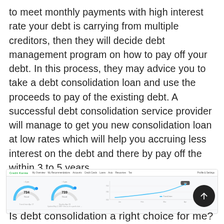to meet monthly payments with high interest rate your debt is carrying from multiple creditors, then they will decide debt management program on how to pay off your debt. In this process, they may advice you to take a debt consolidation loan and use the proceeds to pay of the existing debt. A successful debt consolidation service provider will manage to get you new consolidation loan at low rates which will help you accruing less interest on the debt and there by pay off the within 3 to 5 years.
[Figure (screenshot): Screenshot of a credit score dashboard showing two gauges: 734 (Good) and 739 (Good), along with a line chart showing credit score trend over time, and a bottom row with credit account summary items.]
Is debt consolidation a right choice for me?